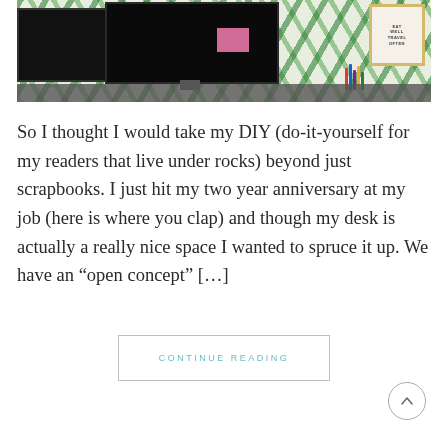[Figure (photo): Photo of a desk workspace with two Dell monitors, pink sticky notes, colorful pens in a cup, tropical leaf wallpaper background, and a framed 'Eat Well Travel Often' sign on the right wall.]
So I thought I would take my DIY (do-it-yourself for my readers that live under rocks) beyond just scrapbooks. I just hit my two year anniversary at my job (here is where you clap) and though my desk is actually a really nice space I wanted to spruce it up. We have an “open concept” [...]
CONTINUE READING